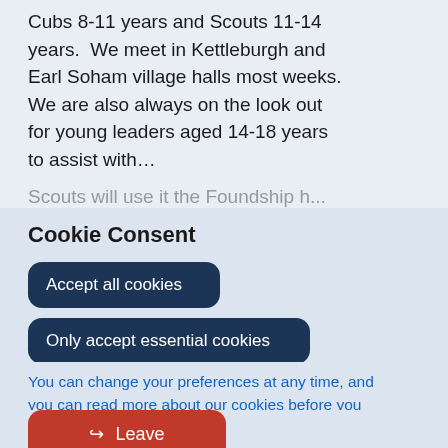organisation for Beavers 5-8 years, Cubs 8-11 years and Scouts 11-14 years.  We meet in Kettleburgh and Earl Soham village halls most weeks.  We are also always on the look out for young leaders aged 14-18 years to assist with...
Cookie Consent
Accept all cookies
Only accept essential cookies
You can change your preferences at any time, and you can read more about our cookies before you choose.
Leave Website